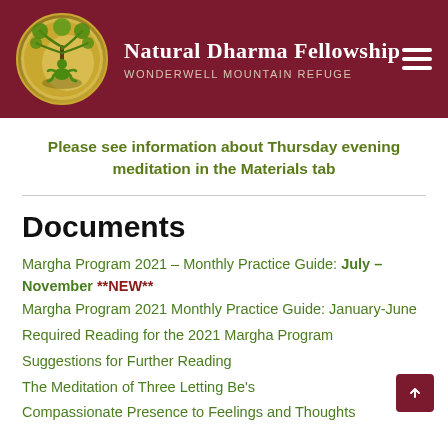Natural Dharma Fellowship | WONDERWELL MOUNTAIN REFUGE
Please see information about Thursday evening meditation in the Materials tab
Documents
Margha Program 2021 – Monthly Practice Guide: July – November **NEW**
Margha Program 2021 Monthly Practice Guide: January-June
Required Reading for the 2021 Margha Program
Suggestions for Further Reading
The Meditation of Three Letting Be's
Compassionate Presence to Feelings and Thoughts